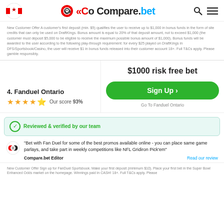Compare.bet
New Customer Offer A customer's first deposit (min. $5) qualifies the user to receive up to $1,000 in bonus funds in the form of site credits that can only be used on DraftKings. Bonus amount is equal to 20% of that deposit amount, not to exceed $1,000 (the customer must deposit $5,000 to be eligible to receive the maximum possible bonus amount of $1,000). Bonus funds will be awarded to the user according to the following play-through requirement: for every $25 played on DraftKings in DFS/Sportsbook/Casino, the user will receive $1 in bonus funds released into their customer account 18+. Full T&Cs apply. Please gamble responsibly.
$1000 risk free bet
Sign Up >
Go To Fanduel Ontario
4. Fanduel Ontario
Our score 93%
Reviewed & verified by our team
"Bet with Fan Duel for some of the best promos available online - you can place same game parlays, and take part in weekly competitions like NFL Gridiron Pick'em"
Compare.bet Editor
Read our review
New Customer Offer Sign up for FanDuel Sportsbook. Make your first deposit (minimum $10). Place your first bet in the Super Bowl Enhanced Odds market on the homepage. Winnings paid in CASH! 18+. Full T&Cs apply. Please